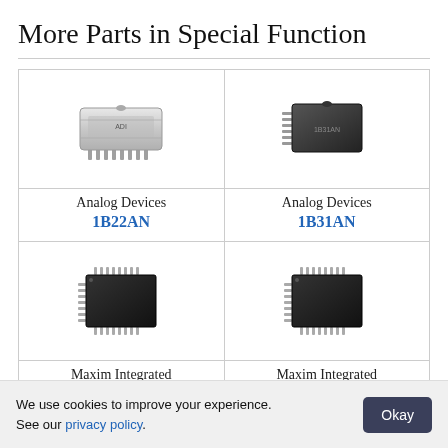More Parts in Special Function
[Figure (illustration): Analog Devices 1B22AN chip — silver SIP/DIP package with pins]
Analog Devices
1B22AN
[Figure (illustration): Analog Devices 1B31AN chip — black DIP IC package with pins]
Analog Devices
1B31AN
[Figure (illustration): Maxim Integrated chip — black square QFP package with pins on all sides]
Maxim Integrated
[Figure (illustration): Maxim Integrated chip — black square QFP package with pins on all sides]
Maxim Integrated
We use cookies to improve your experience. See our privacy policy.